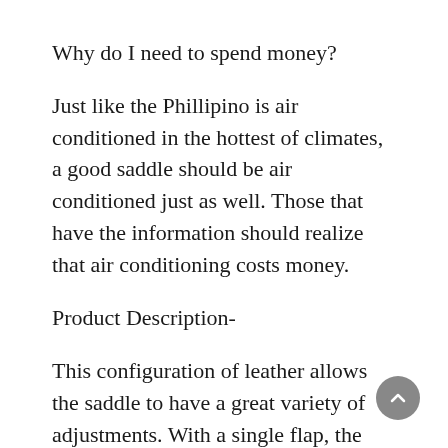Why do I need to spend money?
Just like the Phillipino is air conditioned in the hottest of climates, a good saddle should be air conditioned just as well. Those that have the information should realize that air conditioning costs money.
Product Description-
This configuration of leather allows the saddle to have a great variety of adjustments. With a single flap, the design can be altered for each posture. /////////A completely adjusted saddle will take a bit of time to adjust so it is better to start out with